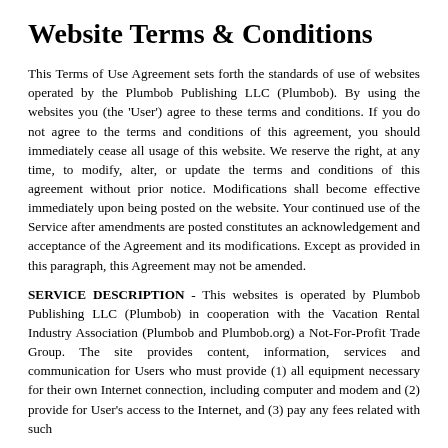Website Terms & Conditions
This Terms of Use Agreement sets forth the standards of use of websites operated by the Plumbob Publishing LLC (Plumbob). By using the websites you (the 'User') agree to these terms and conditions. If you do not agree to the terms and conditions of this agreement, you should immediately cease all usage of this website. We reserve the right, at any time, to modify, alter, or update the terms and conditions of this agreement without prior notice. Modifications shall become effective immediately upon being posted on the website. Your continued use of the Service after amendments are posted constitutes an acknowledgement and acceptance of the Agreement and its modifications. Except as provided in this paragraph, this Agreement may not be amended.
SERVICE DESCRIPTION - This websites is operated by Plumbob Publishing LLC (Plumbob) in cooperation with the Vacation Rental Industry Association (Plumbob and Plumbob.org) a Not-For-Profit Trade Group. The site provides content, information, services and communication for Users who must provide (1) all equipment necessary for their own Internet connection, including computer and modem and (2) provide for User's access to the Internet, and (3) pay any fees related with such connection.